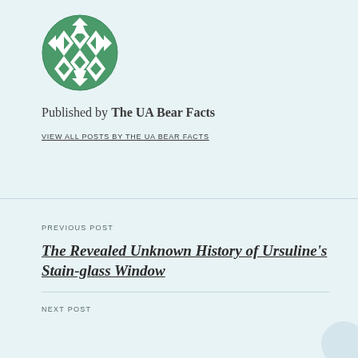[Figure (logo): Circular green geometric logo with diamond/chevron pattern in green and white]
Published by The UA Bear Facts
VIEW ALL POSTS BY THE UA BEAR FACTS
PREVIOUS POST
The Revealed Unknown History of Ursuline's Stain-glass Window
NEXT POST